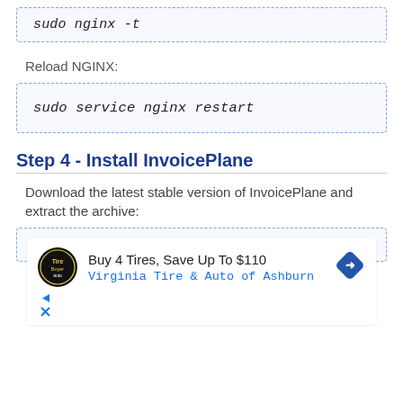Reload NGINX:
Step 4 - Install InvoicePlane
Download the latest stable version of InvoicePlane and extract the archive:
[Figure (other): Advertisement: Buy 4 Tires, Save Up To $110 - Virginia Tire & Auto of Ashburn]